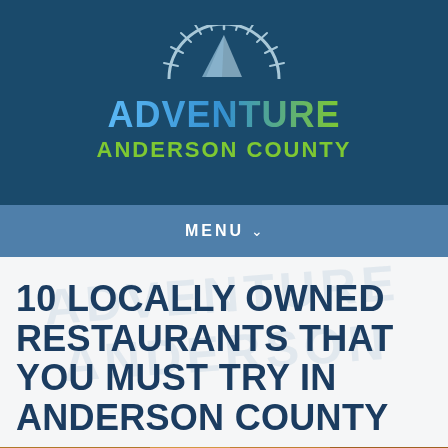[Figure (logo): Adventure Anderson County logo — stylized sun/compass icon above text 'ADVENTURE' in blue gradient and 'ANDERSON COUNTY' in green, on dark blue background]
MENU ∨
10 LOCALLY OWNED RESTAURANTS THAT YOU MUST TRY IN ANDERSON COUNTY
[Figure (photo): Food photo showing fried food items and a drink on a wooden table surface]